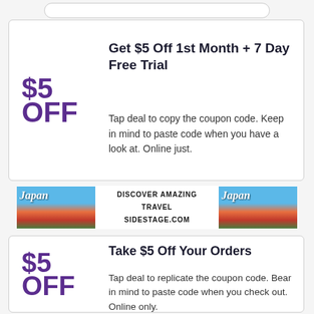[Figure (other): Top navigation/search bar pill shape at top of page]
Get $5 Off 1st Month + 7 Day Free Trial
Tap deal to copy the coupon code. Keep in mind to paste code when you have a look at. Online just.
[Figure (infographic): Japan travel advertisement banner with two Japan images and text: DISCOVER AMAZING TRAVEL SIDESTAGE.COM]
Take $5 Off Your Orders
Tap deal to replicate the coupon code. Bear in mind to paste code when you check out. Online only.